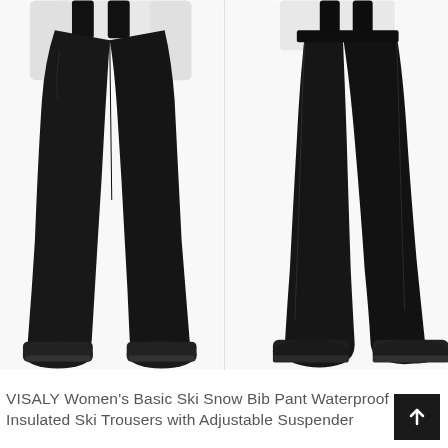[Figure (photo): Two side-by-side photos of a person wearing black ski bib snow pants with black sneakers against a white background. Left photo shows front-left angled view, right photo shows side/right angled view of the same black insulated ski trousers with adjustable suspenders.]
VISALY Women's Basic Ski Snow Bib Pant Waterproof Insulated Ski Trousers with Adjustable Suspender